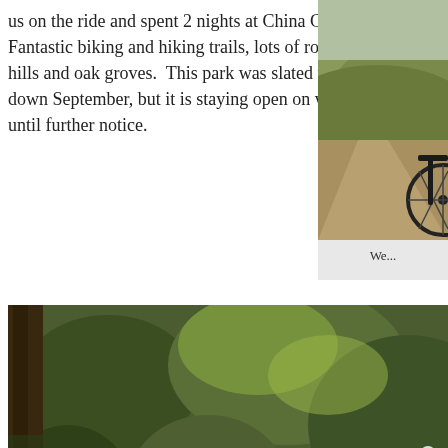us on the ride and spent 2 nights at China Camp. Fantastic biking and hiking trails, lots of rolling green hills and oak groves.  This park was slated to close down September, but it is staying open on weekends until further notice.
[Figure (photo): Photo of a mossy rock or tree trunk with white succulent-like flowers (possibly saxifrage or similar plants) and reddish stems growing on green moss, with forest floor debris visible]
[Figure (photo): Partial photo on the right side showing a dirt trail on rolling grassy hills with a bicycle visible at the right edge]
We...